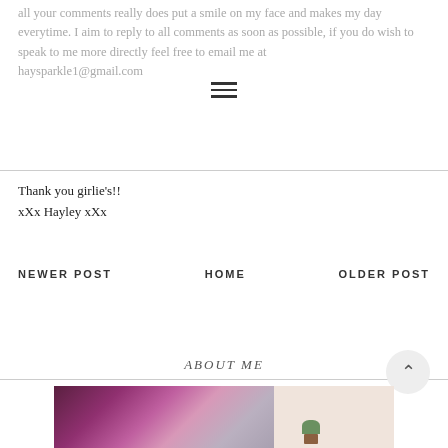all your comments really does put a smile on my face and makes my day everytime. I aim to reply to all comments as soon as possible, if you do wish to speak to me more directly feel free to email me at haysparkle1@gmail.com
Thank you girlie's!!
xXx Hayley xXx
NEWER POST   HOME   OLDER POST
ABOUT ME
[Figure (photo): Photo strip showing a room with purple/pink curtains and books on the left, and a light beige area with a small potted plant on the right.]